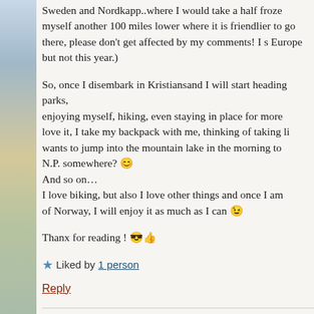Sweden and Nordkapp..where I would take a half froze myself another 100 miles lower where it is friendlier to go there, please don't get affected by my comments! I s Europe but not this year.)
So, once I disembark in Kristiansand I will start heading parks,
enjoying myself, hiking, even staying in place for more love it, I take my backpack with me, thinking of taking li wants to jump into the mountain lake in the morning to N.P. somewhere? 😊
And so on…
I love biking, but also I love other things and once I am of Norway, I will enjoy it as much as I can 😉
Thanx for reading ! 😎🤙
⭐ Liked by 1 person
Reply